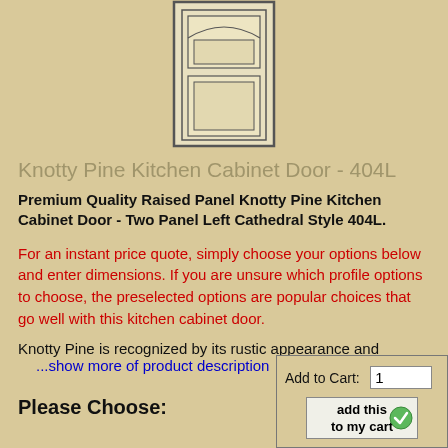[Figure (illustration): Line drawing of a Knotty Pine Kitchen Cabinet Door - Two Panel Left Cathedral Style 404L, showing raised panel rectangular door with arch details at top]
Knotty Pine Kitchen Cabinet Door - 404L
Premium Quality Raised Panel Knotty Pine Kitchen Cabinet Door - Two Panel Left Cathedral Style 404L.
For an instant price quote, simply choose your options below and enter dimensions. If you are unsure which profile options to choose, the preselected options are popular choices that go well with this kitchen cabinet door.
Knotty Pine is recognized by its rustic appearance and
...show more of product description
Please Choose:
Add to Cart: 1